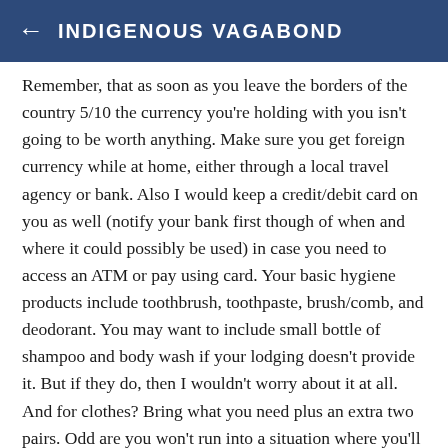← INDIGENOUS VAGABOND
Remember, that as soon as you leave the borders of the country 5/10 the currency you're holding with you isn't going to be worth anything. Make sure you get foreign currency while at home, either through a local travel agency or bank. Also I would keep a credit/debit card on you as well (notify your bank first though of when and where it could possibly be used) in case you need to access an ATM or pay using card. Your basic hygiene products include toothbrush, toothpaste, brush/comb, and deodorant. You may want to include small bottle of shampoo and body wash if your lodging doesn't provide it. But if they do, then I wouldn't worry about it at all. And for clothes? Bring what you need plus an extra two pairs. Odd are you won't run into a situation where you'll be faced with more than 2 disastrous emergencies where you'll need to have a spare change of clothes. All of this, unless your staying for a long, long time, should fit in a travelers backpack. These include something made by Columbia, The North Face, or Swiss Gear to name a few. I personally go with Swiss Gear as I find it to be the